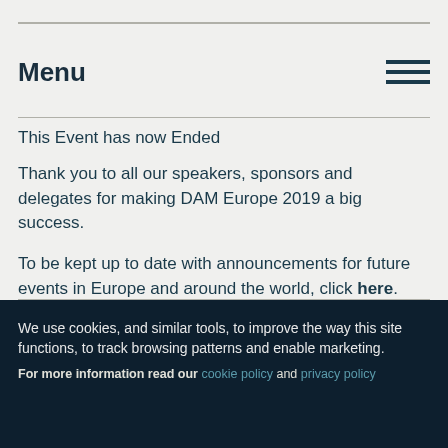Menu
This Event has now Ended
Thank you to all our speakers, sponsors and delegates for making DAM Europe 2019 a big success.
To be kept up to date with announcements for future events in Europe and around the world, click here.
We use cookies, and similar tools, to improve the way this site functions, to track browsing patterns and enable marketing. For more information read our cookie policy and privacy policy